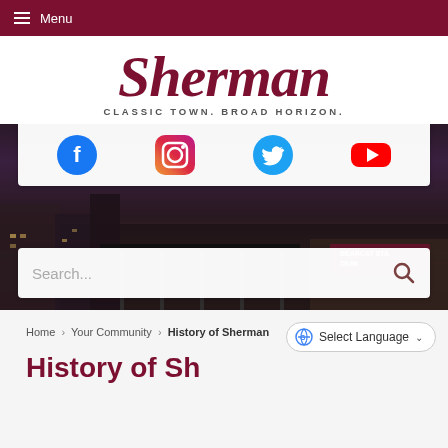Menu
[Figure (logo): Sherman city logo with cursive 'Sherman' text in dark red and tagline 'CLASSIC TOWN. BROAD HORIZON.']
[Figure (infographic): Social media icons bar: Facebook, Instagram, Twitter, YouTube]
[Figure (photo): Night photo of Sherman cityscape with Bearcat Stadium sign visible in background]
Search...
Home › Your Community › History of Sherman
Select Language
History of Sh...